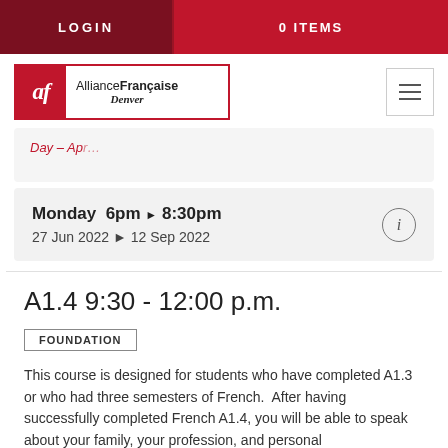LOGIN    0 ITEMS
[Figure (logo): Alliance Française Denver logo with red AF monogram on left and text AllianceFrançaise Denver on right]
Day – Ap...
Monday  6pm ▶ 8:30pm
27 Jun 2022 ▶ 12 Sep 2022
A1.4 9:30 - 12:00 p.m.
FOUNDATION
This course is designed for students who have completed A1.3 or who had three semesters of French.  After having successfully completed French A1.4, you will be able to speak about your family, your profession, and personal